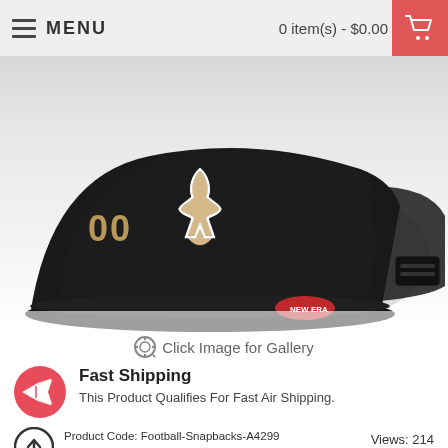MENU   0 item(s) - $0.00
[Figure (photo): Black New Orleans Saints NFL snapback cap with fleur-de-lis logo and number 00, shown from front-side angle with New Era logo sticker visible on brim]
Click Image for Gallery
Fast Shipping
This Product Qualifies For Fast Air Shipping.
Product Code: Football-Snapbacks-A4299   Views: 214
Availability: In Stock